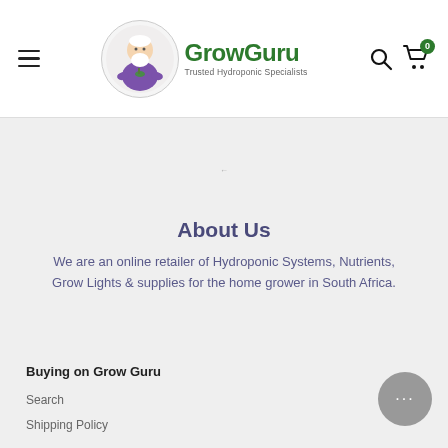GrowGuru — Trusted Hydroponic Specialists
[Figure (logo): GrowGuru logo with wizard mascot in purple robe sitting cross-legged holding a plant, next to green bold text 'GrowGuru' and tagline 'Trusted Hydroponic Specialists']
About Us
We are an online retailer of Hydroponic Systems, Nutrients, Grow Lights & supplies for the home grower in South Africa.
Buying on Grow Guru
Search
Shipping Policy